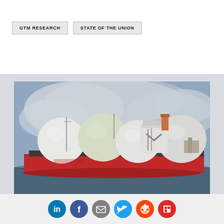GTM RESEARCH | STATE OF THE UNION
[Figure (photo): LNG tanker ship with large spherical storage tanks at a port, red hull, cloudy sky background]
Social sharing icons: LinkedIn, Facebook, Email, Twitter, Reddit, Flipboard